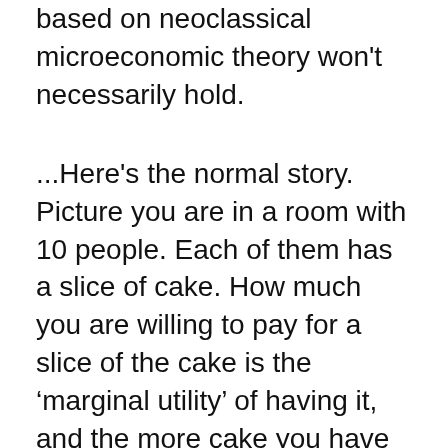based on neoclassical microeconomic theory won't necessarily hold.
...Here's the normal story. Picture you are in a room with 10 people. Each of them has a slice of cake. How much you are willing to pay for a slice of the cake is the 'marginal utility' of having it, and the more cake you have the less any more cake is worth to you. You'd be willing to pay a $1 for the first slice of cake, but you'd only be will to pay 90 cents for the second slice. You'd only be willing to pay 10 cents for the 9th slice, and a penny for the 10th slice.